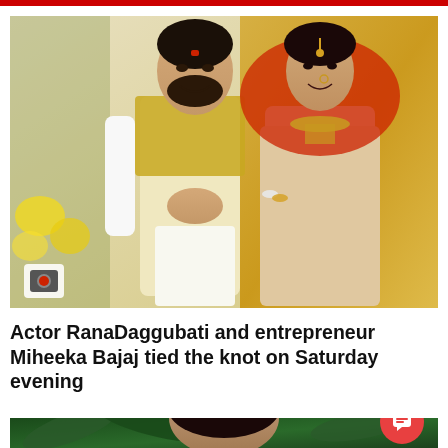[Figure (photo): Wedding photo of actor Rana Daggubati and Miheeka Bajaj seated together in traditional Indian wedding attire. Rana wears white kurta with gold dupatta; Miheeka wears bridal lehenga with red dupatta and gold jewelry. Flower decorations visible in background. Camera icon overlay in bottom-left.]
Actor RanaDaggubati and entrepreneur Miheeka Bajaj tied the knot on Saturday evening
[Figure (photo): Close-up photo of a woman with short dark hair wearing earrings, photographed against a dark green leafy background. An orange circular chat button is overlaid in the bottom-right corner.]